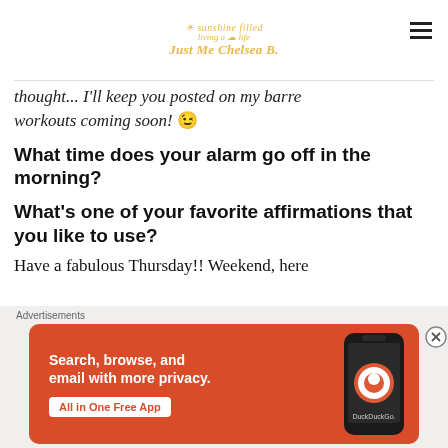sunshine filled living a life Just Me Chelsea B.
thought... I'll keep you posted on my barre workouts coming soon! 😉
What time does your alarm go off in the morning?
What's one of your favorite affirmations that you like to use?
Have a fabulous Thursday!! Weekend, here
Advertisements
[Figure (screenshot): DuckDuckGo advertisement banner: orange background with white text 'Search, browse, and email with more privacy. All in One Free App' with a phone mockup showing the DuckDuckGo app icon and brand name.]